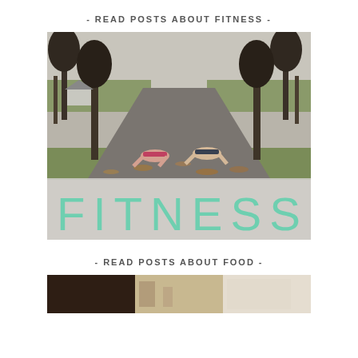- READ POSTS ABOUT FITNESS -
[Figure (photo): Two women doing push-ups on an outdoor paved path lined with trees in autumn, with a large overlay text reading FITNESS in teal/mint letters on a semi-transparent grey background]
- READ POSTS ABOUT FOOD -
[Figure (photo): Partial bottom strip showing a food-related photo, cut off at bottom of page]